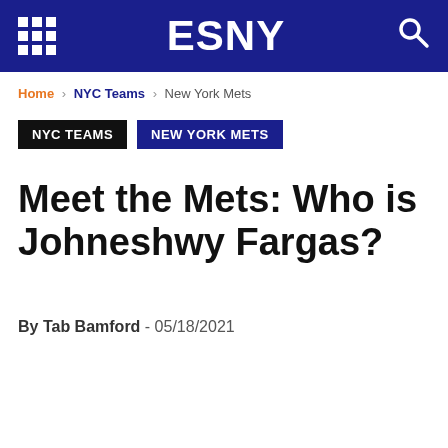ESNY
Home › NYC Teams › New York Mets
NYC TEAMS   NEW YORK METS
Meet the Mets: Who is Johneshwy Fargas?
By Tab Bamford - 05/18/2021